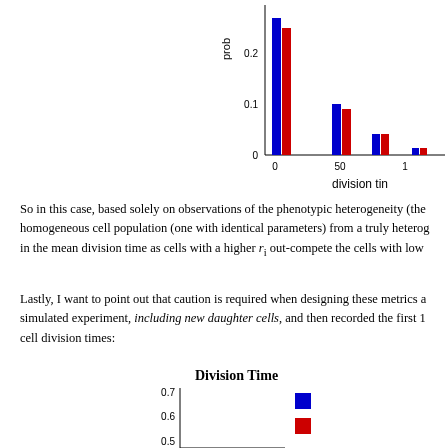[Figure (bar-chart): division time histogram (partial)]
So in this case, based solely on observations of the phenotypic heterogeneity (the homogeneous cell population (one with identical parameters) from a truly heterog in the mean division time as cells with a higher r_i out-compete the cells with low
Lastly, I want to point out that caution is required when designing these metrics a simulated experiment, including new daughter cells, and then recorded the first 1 cell division times:
Division Time
[Figure (bar-chart): Division Time]